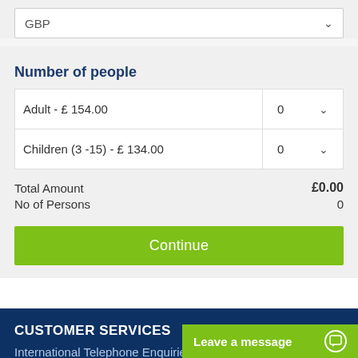GBP
Number of people
|  |  |
| --- | --- |
| Adult - £ 154.00 | 0 ▾ |
| Children (3 -15) - £ 134.00 | 0 ▾ |
Total Amount £0.00
No of Persons 0
Continue
CUSTOMER SERVICES
International Telephone Enquiries
+44 (0) 1843 60
Leave a message